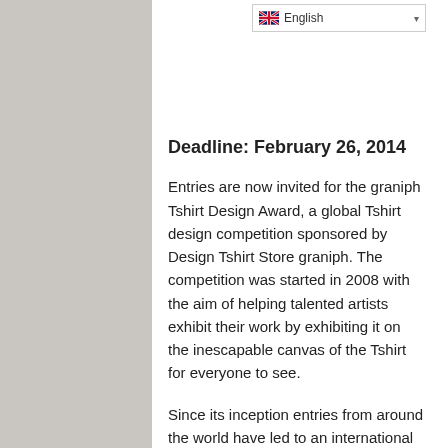English
Deadline: February 26, 2014
Entries are now invited for the graniph Tshirt Design Award, a global Tshirt design competition sponsored by Design Tshirt Store graniph. The competition was started in 2008 with the aim of helping talented artists exhibit their work by exhibiting it on the inescapable canvas of the Tshirt for everyone to see.
Since its inception entries from around the world have led to an international lineup of winners and we expect this year to be no different as we scour, dig